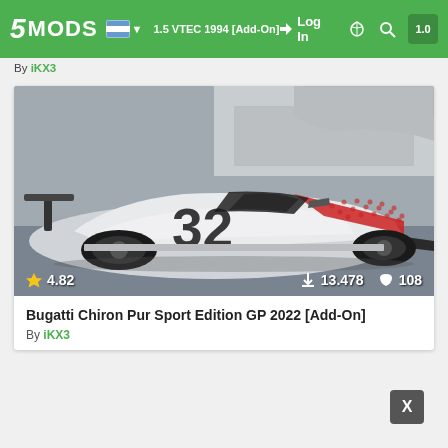5MODS | Honda Civic 1.5 VTEC 1994 [Add-On] | Log In
By iKX3
[Figure (photo): White Bugatti Chiron Pur Sport Edition GP 2022 race car with number 32 livery, red stripe, viewed from left side angle on track. Stats overlay: 4.82 rating, 13,478 downloads, 108 likes.]
Bugatti Chiron Pur Sport Edition GP 2022 [Add-On]
By iKX3